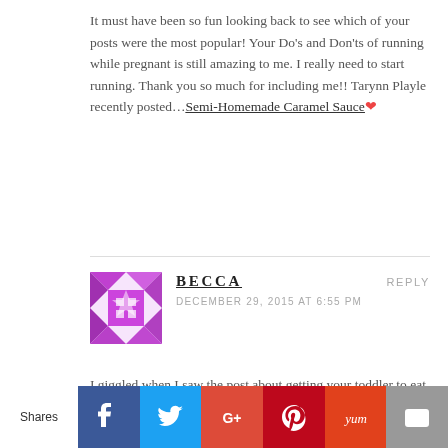It must have been so fun looking back to see which of your posts were the most popular! Your Do's and Don'ts of running while pregnant is still amazing to me. I really need to start running. Thank you so much for including me!! Tarynn Playle recently posted…Semi-Homemade Caramel Sauce
BECCA
DECEMBER 29, 2015 AT 6:55 PM
REPLY
I giggled when I saw the post about getting your toddler to eat more…
Shares